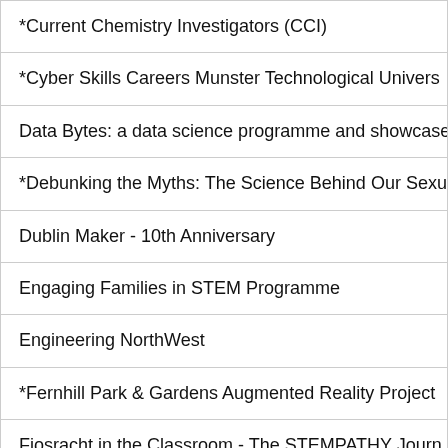| *Current Chemistry Investigators (CCI) |
| *Cyber Skills Careers Munster Technological Univers |
| Data Bytes: a data science programme and showcase |
| *Debunking the Myths: The Science Behind Our Sexu |
| Dublin Maker - 10th Anniversary |
| Engaging Families in STEM Programme |
| Engineering NorthWest |
| *Fernhill Park & Gardens Augmented Reality Project |
| Fiosracht in the Classroom - The STEMPATHY Journ |
| *Gaelscoileanna STEM Programme |
| Guardians of the Future: Developing Parents'* Clima |